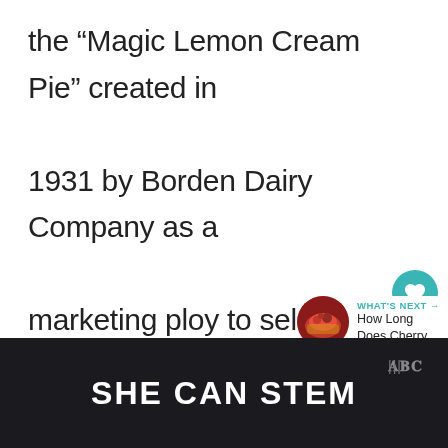the “Magic Lemon Cream Pie” created in 1931 by Borden Dairy Company as a marketing ploy to sell more of its condensed milk.
[Figure (screenshot): UI overlay showing a teal heart/like button with count 1 and a share button, plus a 'What's Next' preview thumbnail showing a pie image with text 'WHAT'S NEXT → How Long Does Cherry...']
[Figure (logo): Dark footer banner with bold white text 'SHE CAN STEM' and a small wave logo in the upper right corner]